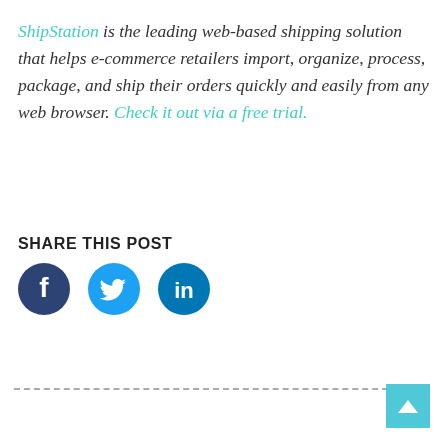ShipStation is the leading web-based shipping solution that helps e-commerce retailers import, organize, process, package, and ship their orders quickly and easily from any web browser. Check it out via a free trial.
SHARE THIS POST
[Figure (illustration): Three circular social media share buttons: Facebook (dark navy circle with white f icon), Twitter (medium blue circle with white bird icon), LinkedIn (medium blue circle with white 'in' icon)]